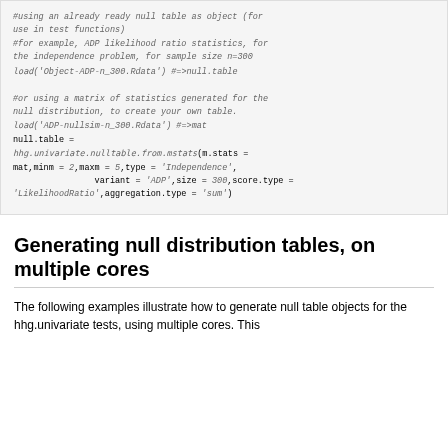#using an already ready null table as object (for use in test functions)
#for example, ADP likelihood ratio statistics, for the independence problem, for sample size n=300
load('Object-ADP-n_300.Rdata') #=>null.table

#or using a matrix of statistics generated for the null distribution, to create your own table.
load('ADP-nullsim-n_300.Rdata') #=>mat
null.table =
hhg.univariate.nulltable.from.mstats(m.stats = mat,minm = 2,maxm = 5,type = 'Independence',
                variant = 'ADP',size = 300,score.type =
'LikelihoodRatio',aggregation.type = 'sum')
Generating null distribution tables, on multiple cores
The following examples illustrate how to generate null table objects for the hhg.univariate tests, using multiple cores. This